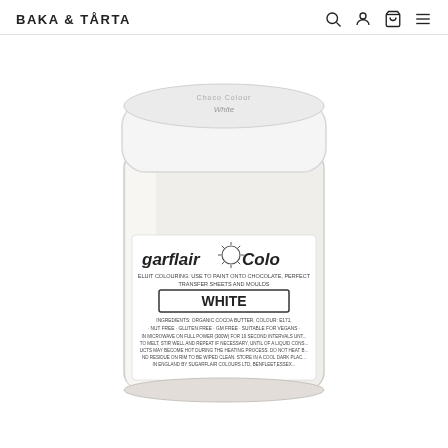BAKA & TÅRTA
[Figure (photo): A white cylindrical jar of Sugarflair Colours chocolate colouring with white lid. Label reads 'sugarflair Colours', 'WHITE', with ingredients including organic cocoa butter, colour E171. Marked as nut free, gluten free, GM free, suitable for vegans. Stored by Sugarflair Colours Ltd, Benfleet.]